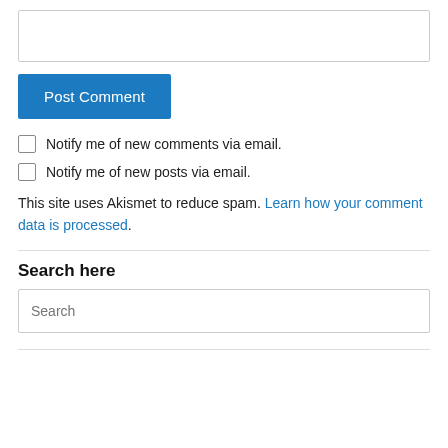[Figure (screenshot): Empty textarea input field for comment]
Post Comment
Notify me of new comments via email.
Notify me of new posts via email.
This site uses Akismet to reduce spam. Learn how your comment data is processed.
Search here
[Figure (screenshot): Search input field with placeholder text 'Search']